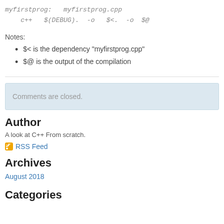myfirstprog:   myfirstprog.cpp
    c++   $(DEBUG).  -o   $<.  -o  $@
Notes:
$< is the dependency "myfirstprog.cpp"
$@ is the output of the compilation
Comments are closed.
Author
A look at C++ From scratch.
RSS Feed
Archives
August 2018
Categories